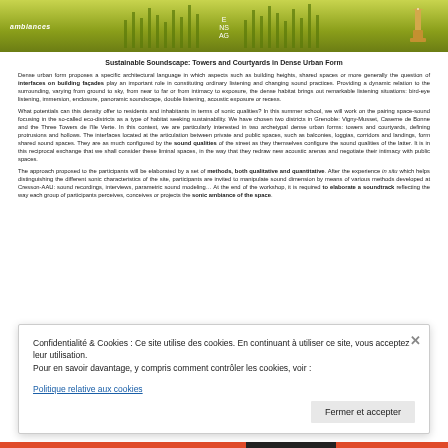[Figure (illustration): Website header banner with olive/yellow-green gradient background. Shows 'ambiances' logo on left, 'E NS AG' text in center, and a lighthouse/tower logo on the right with decorative grass/plant silhouettes.]
Sustainable Soundscape: Towers and Courtyards in Dense Urban Form
Dense urban form proposes a specific architectural language in which aspects such as building heights, shared spaces or more generally the question of interfaces on building façades play an important role in constituting ordinary listening and changing sound practices. Providing a dynamic relation to the surrounding, varying from ground to sky, from near to far or from intimacy to exposure, the dense habitat brings out remarkable listening situations: bird-eye listening, immersion, enclosure, panoramic soundscape, double listening, acoustic exposure or recess.
What potentials can this density offer to residents and inhabitants in terms of sonic qualities? In this summer school, we will work on the pairing space-sound focusing in the so-called eco-districts as a type of habitat seeking sustainability. We have chosen two districts in Grenoble: Vigny-Musset, Caserne de Bonne and the Three Towers de l'Ile Verte. In this context, we are particularly interested in two archetypal dense urban forms: towers and courtyards, defining protrusions and hollows. The interfaces located at the articulation between private and public spaces, such as balconies, loggias, corridors and landings, form shared sound spaces. They are as much configured by the sound qualities of the street as they themselves configure the sound qualities of the latter. It is in this reciprocal exchange that we shall consider these liminal spaces, in the way that they redraw new acoustic arenas and negotiate their intimacy with public spaces.
The approach proposed to the participants will be elaborated by a set of methods, both qualitative and quantitative. After the experience in situ which helps distinguishing the different sonic characteristics of the site, participants are invited to manipulate sound dimension by means of various methods developed at Cresson-AAU: sound recordings, interviews, parametric sound modeling… At the end of the workshop, it is required to elaborate a soundtrack reflecting the way each group of participants perceives, conceives or projects the sonic ambiance of the space.
Confidentialité & Cookies : Ce site utilise des cookies. En continuant à utiliser ce site, vous acceptez leur utilisation.
Pour en savoir davantage, y compris comment contrôler les cookies, voir :
Politique relative aux cookies
Fermer et accepter